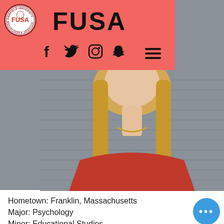[Figure (logo): FUSA (Fairfield University Student Association) website header with logo, title, social media icons, and hamburger menu on a coral/salmon red background]
[Figure (photo): Portrait photo of a young woman with long blonde hair, wearing a red top and gold necklace, smiling, against a grey siding background]
Hometown: Franklin, Massachusetts
Major: Psychology
Minor: Educational Studies
Involvement on Campus: Executive ...